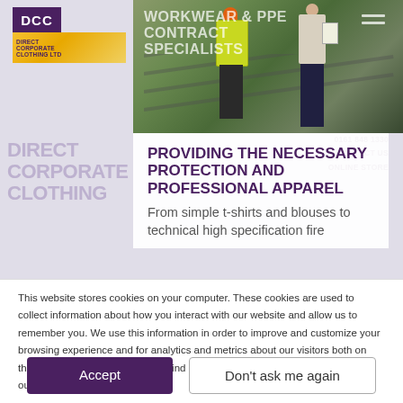[Figure (screenshot): Website screenshot showing DCC (Direct Corporate Clothing) workwear and PPE contractor specialists page with workers in hi-vis vests and hard hats on a solar panel site]
PROVIDING THE NECESSARY PROTECTION AND PROFESSIONAL APPAREL
From simple t-shirts and blouses to technical high specification fire
This website stores cookies on your computer. These cookies are used to collect information about how you interact with our website and allow us to remember you. We use this information in order to improve and customize your browsing experience and for analytics and metrics about our visitors both on this website and other media. To find out more about the cookies we use, see our Privacy Policy.
Accept
Don't ask me again